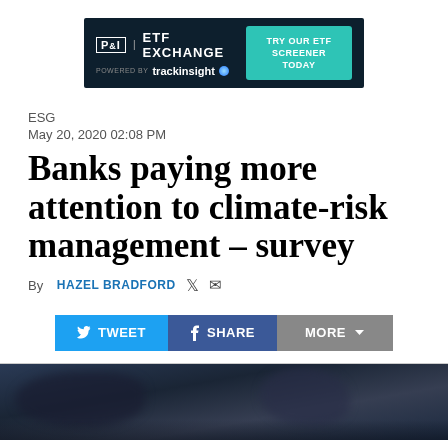[Figure (screenshot): P&I ETF Exchange advertisement banner powered by trackinsight with a 'TRY OUR ETF SCREENER TODAY' button on dark background]
ESG
May 20, 2020 02:08 PM
Banks paying more attention to climate-risk management – survey
By HAZEL BRADFORD
TWEET   SHARE   MORE
[Figure (photo): Dark moody sky with clouds, dark blue/grey tones suggesting storm or evening sky]